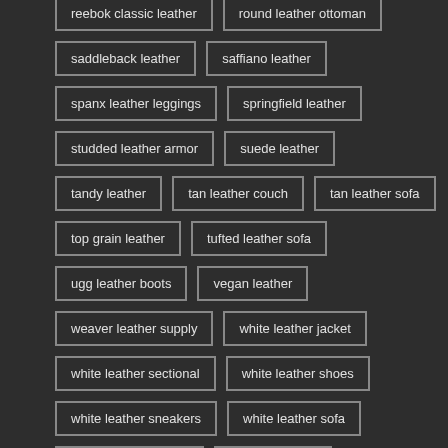reebok classic leather
round leather ottoman
saddleback leather
saffiano leather
spanx leather leggings
springfield leather
studded leather armor
suede leather
tandy leather
tan leather couch
tan leather sofa
top grain leather
tufted leather sofa
ugg leather boots
vegan leather
weaver leather supply
white leather jacket
white leather sectional
white leather shoes
white leather sneakers
white leather sofa
wilson leather jacket
wilsons leather
womens leather backpack
womens leather belt